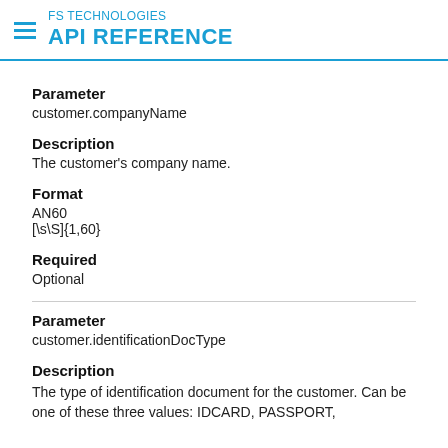FS TECHNOLOGIES API REFERENCE
Parameter
customer.companyName
Description
The customer's company name.
Format
AN60
[\s\S]{1,60}
Required
Optional
Parameter
customer.identificationDocType
Description
The type of identification document for the customer. Can be one of these three values: IDCARD, PASSPORT,